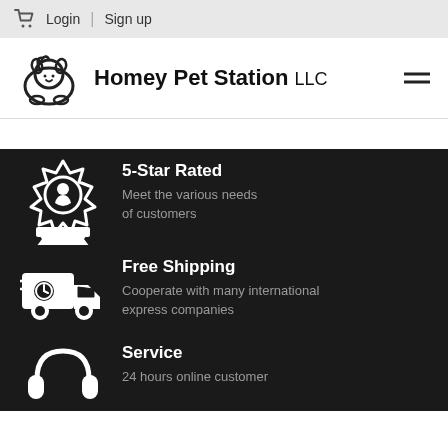Login | Sign up
Homey Pet Station LLC
[Figure (infographic): 5-Star Rated award icon with white star-burst badge on dark background]
5-Star Rated
Meet the various needs of customers
[Figure (infographic): Free Shipping delivery truck icon on dark background]
Free Shipping
Cooperate with many international express companies
[Figure (infographic): Service headset/headphones icon on dark background]
Service
24 hours online customer